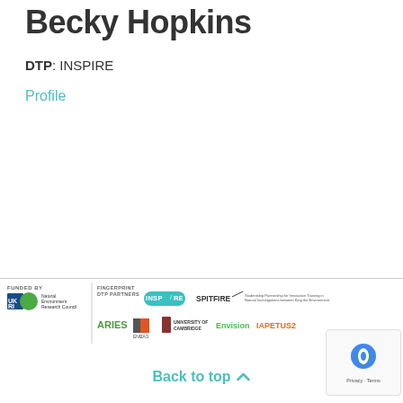Becky Hopkins
DTP: INSPIRE
Profile
[Figure (logo): Footer logos: UKRI Natural Environment Research Council, DTP Partners: ARIES, ENVCAS, University of Cambridge, Envision, IAPETUS2, INSPIRE, SPITFIRE]
Back to top